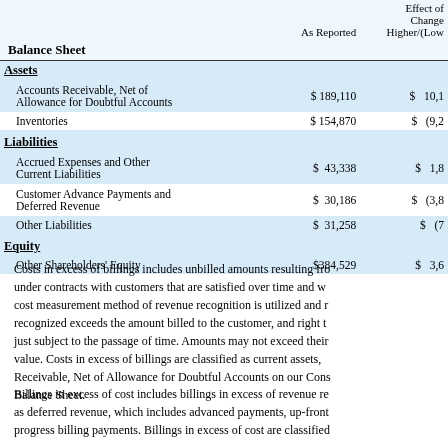| Balance Sheet | As Reported | Effect of Change Higher/(Low |
| --- | --- | --- |
| Assets |  |  |
| Accounts Receivable, Net of Allowance for Doubtful Accounts | $189,110 | $ 10,1 |
| Inventories | $154,870 | $ (9,2 |
| Liabilities |  |  |
| Accrued Expenses and Other Current Liabilities | $ 43,338 | $ 1,8 |
| Customer Advance Payments and Deferred Revenue | $ 30,186 | $ (3,8 |
| Other Liabilities | $ 31,258 | $ (7 |
| Equity |  |  |
| Other Shareholders' Equity | $384,529 | $ 3,6 |
Costs in excess of billings includes unbilled amounts resulting from under contracts with customers that are satisfied over time and whe cost measurement method of revenue recognition is utilized and re recognized exceeds the amount billed to the customer, and right to just subject to the passage of time. Amounts may not exceed their value. Costs in excess of billings are classified as current assets, Receivable, Net of Allowance for Doubtful Accounts on our Cons Balance Sheet.
Billings in excess of cost includes billings in excess of revenue rec as deferred revenue, which includes advanced payments, up-front p progress billing payments. Billings in excess of cost are classified a